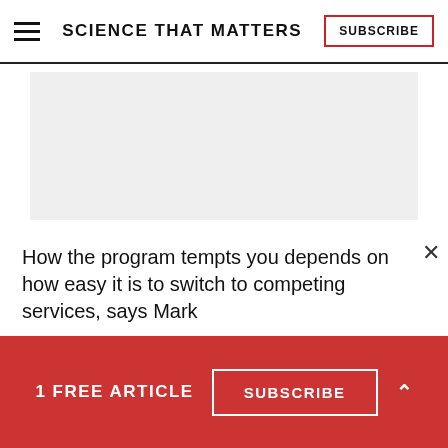SCIENCE THAT MATTERS | SUBSCRIBE
[Figure (other): Gray advertisement placeholder box]
How the program tempts you depends on how easy it is to switch to competing services, says Mark
1 FREE ARTICLE  SUBSCRIBE